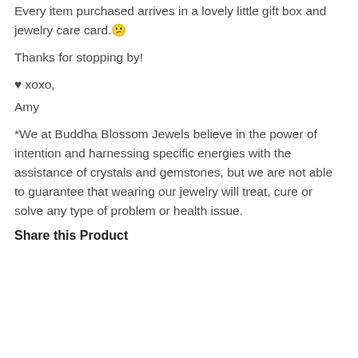Every item purchased arrives in a lovely little gift box and jewelry care card.☺
Thanks for stopping by!
♥ xoxo,
Amy
*We at Buddha Blossom Jewels believe in the power of intention and harnessing specific energies with the assistance of crystals and gemstones, but we are not able to guarantee that wearing our jewelry will treat, cure or solve any type of problem or health issue.
Share this Product